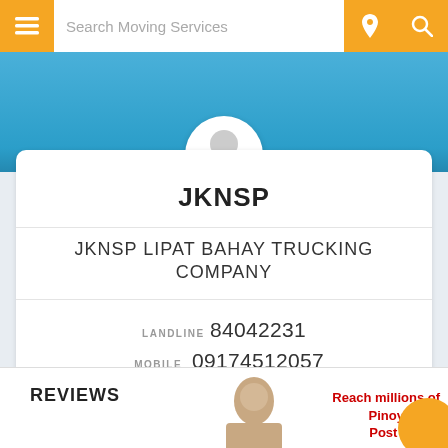Search Moving Services
[Figure (screenshot): Blue banner with partial profile picture circle at top of company card]
JKNSP
JKNSP LIPAT BAHAY TRUCKING COMPANY
LANDLINE 84042231
MOBILE 09174512057
OFFICE 09332387704
✉ Send Private Message
REVIEWS
Reach millions of Pinoy pros! Post na po!